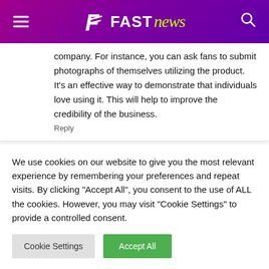Fast News
company. For instance, you can ask fans to submit photographs of themselves utilizing the product. It's an effective way to demonstrate that individuals love using it. This will help to improve the credibility of the business.
Reply
Rubi Coby June 10, 2022 At 4:45 am
We use cookies on our website to give you the most relevant experience by remembering your preferences and repeat visits. By clicking "Accept All", you consent to the use of ALL the cookies. However, you may visit "Cookie Settings" to provide a controlled consent.